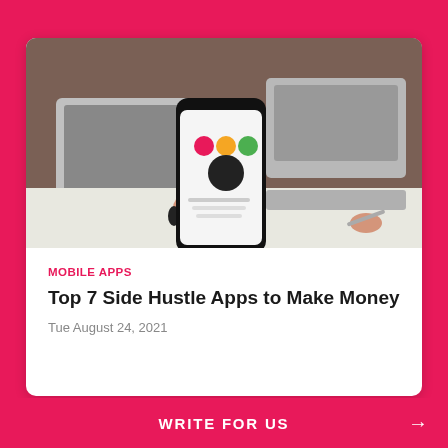[Figure (photo): A person holding a smartphone displaying a mobile app, with a laptop in the background on a white desk.]
MOBILE APPS
Top 7 Side Hustle Apps to Make Money
Tue August 24, 2021
WRITE FOR US →